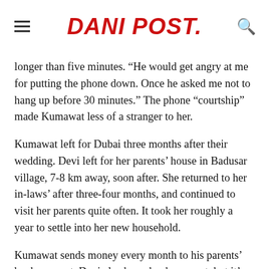DANI POST.
longer than five minutes. “He would get angry at me for putting the phone down. Once he asked me not to hang up before 30 minutes.” The phone “courtship” made Kumawat less of a stranger to her.
Kumawat left for Dubai three months after their wedding. Devi left for her parents’ house in Badusar village, 7-8 km away, soon after. She returned to her in-laws’ after three-four months, and continued to visit her parents quite often. It took her roughly a year to settle into her new household.
Kumawat sends money every month to his parents’ bank account. Devi also has a bank account, but it’s hardly used. Her husband gives her some cash for her use when he leaves. Last time, he had left ₹10,000 with her, which got